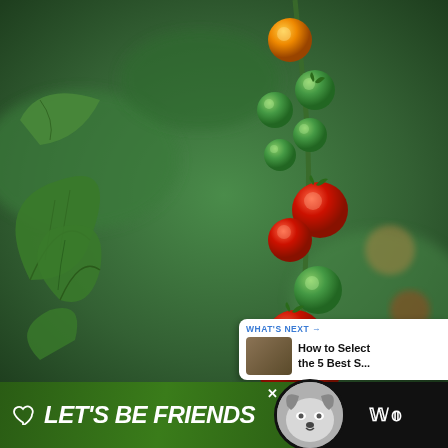[Figure (photo): Close-up photograph of cherry tomatoes on the vine in various stages of ripeness — red ripe tomatoes, green unripe tomatoes, and one orange tomato at the top, surrounded by green leaves. A vertical cluster of tomatoes runs down the right-center of the image.]
[Figure (screenshot): UI overlay: blue circular heart/like button, white count badge showing '1', and a share button (arrow with plus icon) on the right edge of the photo.]
[Figure (screenshot): What's Next panel in bottom-right corner showing a thumbnail image and text 'WHAT'S NEXT → How to Select the 5 Best S...']
LET'S BE FRIENDS